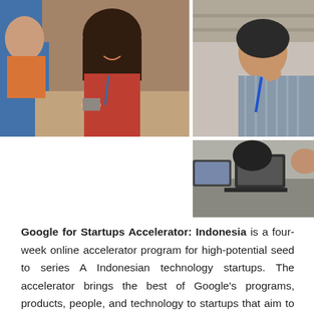[Figure (photo): Two side-by-side photos: left photo shows a smiling young woman in a red shirt at what appears to be a networking event; right photo (two stacked images) shows a man in a striped shirt listening thoughtfully, and below that two people working at laptops in a professional setting.]
Google for Startups Accelerator: Indonesia is a four-week online accelerator program for high-potential seed to series A Indonesian technology startups. The accelerator brings the best of Google's programs, products, people, and technology to startups that aim to solve the challenges we face today - whether in fintech, edtech, retail, logistics, or healthcare. In